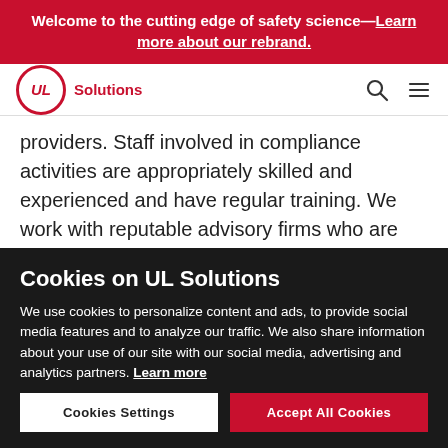Welcome to the cutting edge of safety science—Learn more about our rebrand.
[Figure (logo): UL Solutions logo — red circle with UL italic text, followed by 'Solutions' in red text. Navigation icons (search, hamburger menu) on the right.]
providers. Staff involved in compliance activities are appropriately skilled and experienced and have regular training. We work with reputable advisory firms who are experts in the services provided. As a normal course of business, we obtain third party assurances
Cookies on UL Solutions
We use cookies to personalize content and ads, to provide social media features and to analyze our traffic. We also share information about your use of our site with our social media, advertising and analytics partners. Learn more
Cookies Settings
Accept All Cookies